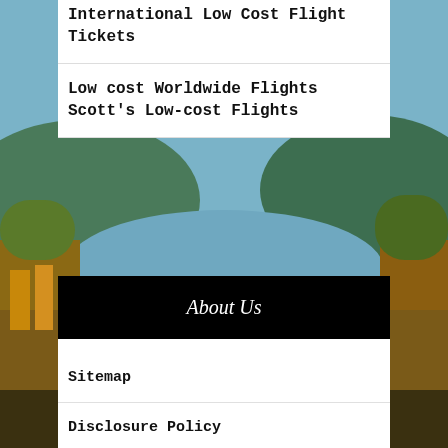[Figure (photo): Aerial landscape photo showing a lake surrounded by forested hills with autumn foliage in orange and yellow tones, serving as a background for the webpage]
International Low Cost Flight Tickets
Low cost Worldwide Flights Scott's Low-cost Flights
About Us
Sitemap
Disclosure Policy
Advertise Here
Contact Us